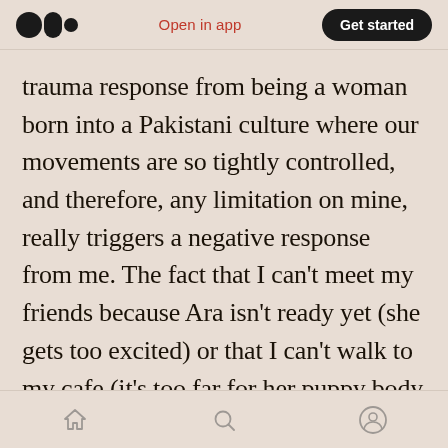Open in app | Get started
trauma response from being a woman born into a Pakistani culture where our movements are so tightly controlled, and therefore, any limitation on mine, really triggers a negative response from me. The fact that I can't meet my friends because Ara isn't ready yet (she gets too excited) or that I can't walk to my cafe (it's too far for her puppy body and public transport won't allow her to ride) or I can't even lie on the bed for a nap if I'm the only one at home (it's on the cats floor) makes me feel so trapped. I know with training, that unfortunately takes far too long, these
Home | Search | Profile